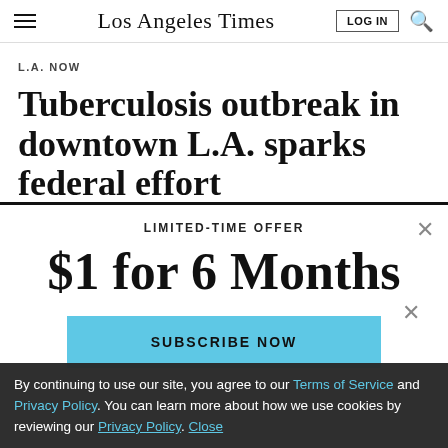Los Angeles Times
L.A. NOW
Tuberculosis outbreak in downtown L.A. sparks federal effort
LIMITED-TIME OFFER
$1 for 6 Months
SUBSCRIBE NOW
By continuing to use our site, you agree to our Terms of Service and Privacy Policy. You can learn more about how we use cookies by reviewing our Privacy Policy. Close